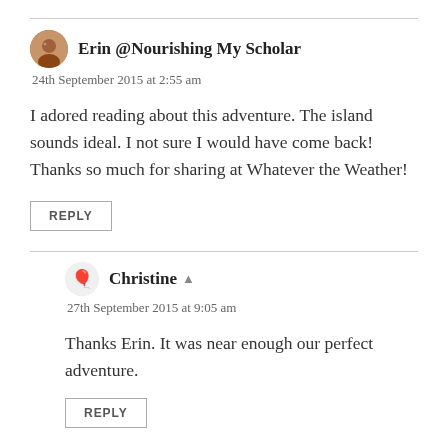Erin @Nourishing My Scholar
24th September 2015 at 2:55 am
I adored reading about this adventure. The island sounds ideal. I not sure I would have come back! Thanks so much for sharing at Whatever the Weather!
REPLY
Christine
27th September 2015 at 9:05 am
Thanks Erin. It was near enough our perfect adventure.
REPLY